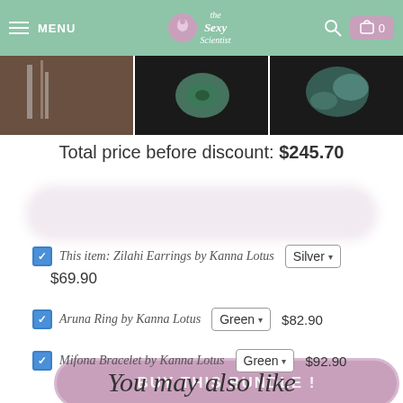MENU | The Sexy Scientist | 🔍 | 🛍 0
[Figure (photo): Three product thumbnail photos side by side showing jewelry items on dark backgrounds]
Total price before discount: $245.70
BUY THIS BUNDLE !
This item: Zilahi Earrings by Kanna Lotus — Silver — $69.90
Aruna Ring by Kanna Lotus — Green — $82.90
Mifona Bracelet by Kanna Lotus — Green — $92.90
You may also like